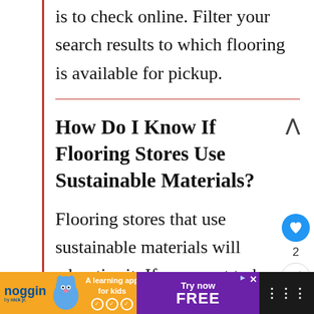is to check online. Filter your search results to which flooring is available for pickup.
How Do I Know If Flooring Stores Use Sustainable Materials?
Flooring stores that use sustainable materials will advertise it. If you want to know then you should ask the company. If they walk around the question, then the answer is no
[Figure (screenshot): Advertisement banner for Noggin by Nick Jr. learning app with 'Try now FREE' call to action in purple]